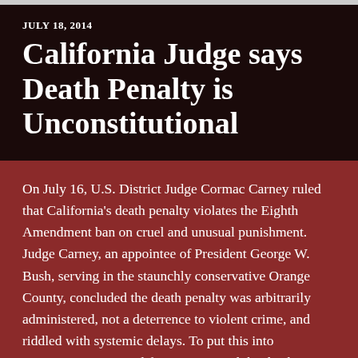JULY 18, 2014
California Judge says Death Penalty is Unconstitutional
On July 16, U.S. District Judge Cormac Carney ruled that California's death penalty violates the Eighth Amendment ban on cruel and unusual punishment. Judge Carney, an appointee of President George W. Bush, serving in the staunchly conservative Orange County, concluded the death penalty was arbitrarily administered, not a deterrence to violent crime, and riddled with systemic delays. To put this into perspective, since California reinstated the death penalty in 1978, over nine hundred people have been condemned to die. Only thirteen have